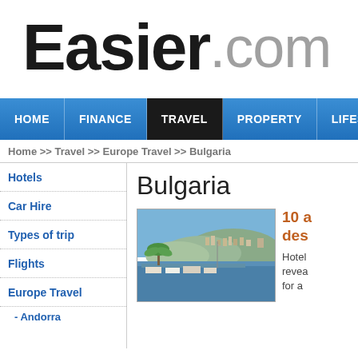Easier.com
HOME | FINANCE | TRAVEL | PROPERTY | LIFESTYLE
Home >> Travel >> Europe Travel >> Bulgaria
Hotels
Car Hire
Types of trip
Flights
Europe Travel
- Andorra
Bulgaria
[Figure (photo): Coastal harbour town in Bulgaria with boats, palm trees, and hillside buildings]
10 a des Hotel revea for a